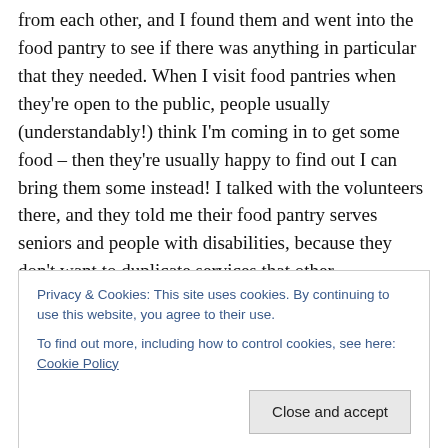from each other, and I found them and went into the food pantry to see if there was anything in particular that they needed. When I visit food pantries when they're open to the public, people usually (understandably!) think I'm coming in to get some food – then they're usually happy to find out I can bring them some instead! I talked with the volunteers there, and they told me their food pantry serves seniors and people with disabilities, because they don't want to duplicate services that other organizations help. They're trying to make sure no one falls through the
Privacy & Cookies: This site uses cookies. By continuing to use this website, you agree to their use. To find out more, including how to control cookies, see here: Cookie Policy
they have a lot going on and I was happy to find them!